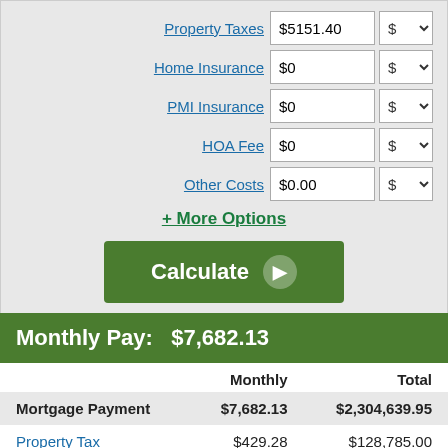Property Taxes $5151.40 $ ▾
Home Insurance $0 $ ▾
PMI Insurance $0 $ ▾
HOA Fee $0 $ ▾
Other Costs $0.00 $ ▾
+ More Options
Calculate
Monthly Pay:   $7,682.13
|  | Monthly | Total |
| --- | --- | --- |
| Mortgage Payment | $7,682.13 | $2,304,639.95 |
| Property Tax | $429.28 | $128,785.00 |
| Total Out-of-Pocket | $8,111.40 | $2,433,421.95 |